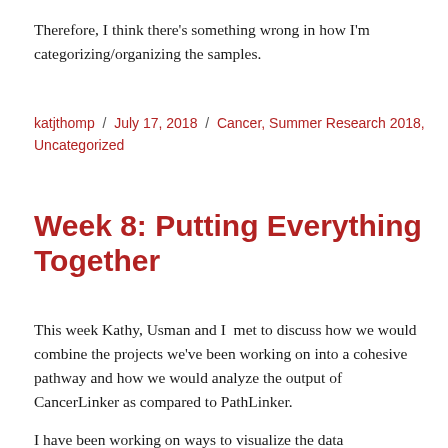Therefore, I think there's something wrong in how I'm categorizing/organizing the samples.
katjthomp / July 17, 2018 / Cancer, Summer Research 2018, Uncategorized
Week 8: Putting Everything Together
This week Kathy, Usman and I  met to discuss how we would combine the projects we've been working on into a cohesive pathway and how we would analyze the output of CancerLinker as compared to PathLinker.
I have been working on ways to visualize the data